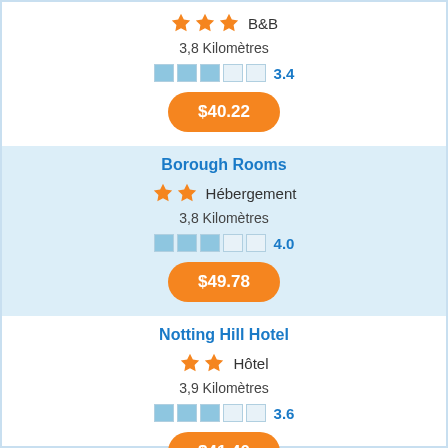B&B
3,8 Kilomètres
3.4
$40.22
Borough Rooms
Hébergement
3,8 Kilomètres
4.0
$49.78
Notting Hill Hotel
Hôtel
3,9 Kilomètres
3.6
$41.40